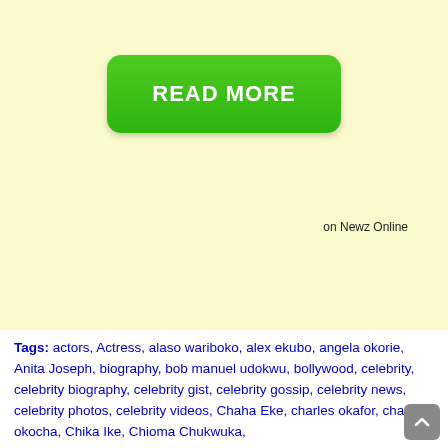[Figure (other): Green 'READ MORE' button on light yellow background]
on Newz Online
Tags: actors, Actress, alaso wariboko, alex ekubo, angela okorie, Anita Joseph, biography, bob manuel udokwu, bollywood, celebrity, celebrity biography, celebrity gist, celebrity gossip, celebrity news, celebrity photos, celebrity videos, Chaha Eke, charles okafor, charles okocha, Chika Ike, Chioma Chukwuka,